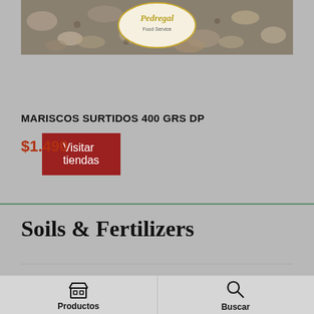[Figure (photo): Product image of mixed seafood (mariscos surtidos) with Pedregal Food Service logo/badge visible]
Visitar tiendas
MARISCOS SURTIDOS 400 GRS DP
$1.490
Soils & Fertilizers
Productos | Buscar